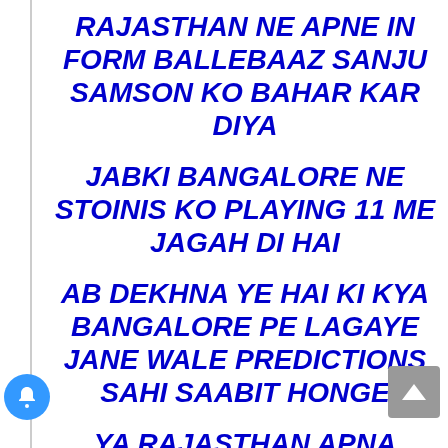RAJASTHAN NE APNE IN FORM BALLEBAAZ SANJU SAMSON KO BAHAR KAR DIYA
JABKI BANGALORE NE STOINIS KO PLAYING 11 ME JAGAH DI HAI
AB DEKHNA YE HAI KI KYA BANGALORE PE LAGAYE JANE WALE PREDICTIONS SAHI SAABIT HONGE
YA RAJASTHAN APNA PEHLA